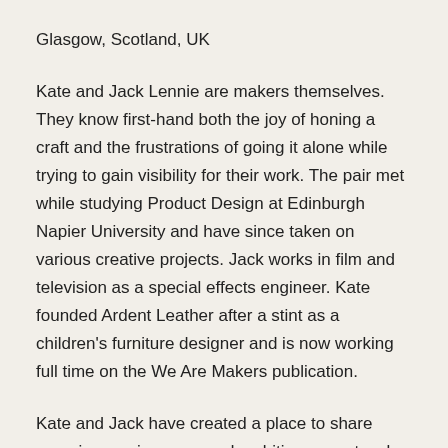Glasgow, Scotland, UK
Kate and Jack Lennie are makers themselves. They know first-hand both the joy of honing a craft and the frustrations of going it alone while trying to gain visibility for their work. The pair met while studying Product Design at Edinburgh Napier University and have since taken on various creative projects. Jack works in film and television as a special effects engineer. Kate founded Ardent Leather after a stint as a children's furniture designer and is now working full time on the We Are Makers publication.
Kate and Jack have created a place to share experiences, journeys and ambitions; a network where conversations and collaborations between